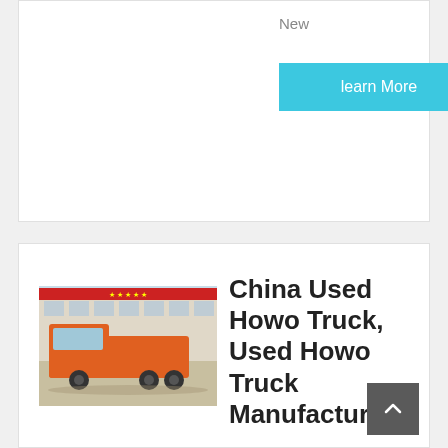New
learn More
[Figure (photo): Orange Howo truck parked in front of a building with red signage]
China Used Howo Truck, Used Howo Truck Manufacturers
Recommended product from this supplier. Used Dump Truck HOWO 6*4 10 Wheels HOWO 371 375 Secondhand Sinotruk Tipper Made in 2020 Cheap Price. FOB Price: US $ 16000-19000 / Piece. Min. Order: 1 Piece. Transmission Type: Manual.